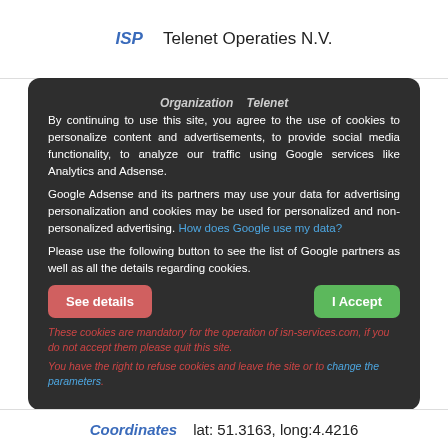ISP    Telenet Operaties N.V.
Organization    Telenet
By continuing to use this site, you agree to the use of cookies to personalize content and advertisements, to provide social media functionality, to analyze our traffic using Google services like Analytics and Adsense.
Google Adsense and its partners may use your data for advertising personalization and cookies may be used for personalized and non-personalized advertising. How does Google use my data?
Please use the following button to see the list of Google partners as well as all the details regarding cookies.
See details
I Accept
These cookies are mandatory for the operation of isn-services.com, if you do not accept them please quit this site.
You have the right to refuse cookies and leave the site or to change the parameters.
Coordinates    lat: 51.3163, long:4.4216